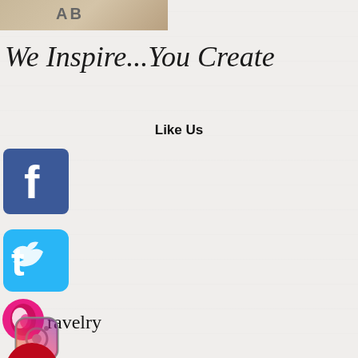[Figure (photo): Partial top image showing a cardboard-like surface with partial text]
We Inspire...You Create
Like Us
[Figure (logo): Facebook logo icon - blue square with white f]
[Figure (logo): Twitter logo icon - blue rounded square with white bird]
[Figure (logo): Ravelry logo icon with text 'ravelry']
[Figure (logo): Instagram camera icon with Instagram label]
[Figure (logo): Pinterest P icon - red circle with white P]